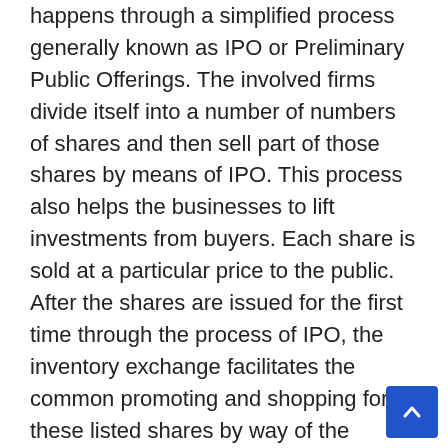happens through a simplified process generally known as IPO or Preliminary Public Offerings. The involved firms divide itself into a number of numbers of shares and then sell part of those shares by means of IPO. This process also helps the businesses to lift investments from buyers. Each share is sold at a particular price to the public. After the shares are issued for the first time through the process of IPO, the inventory exchange facilitates the common promoting and shopping for of these listed shares by way of the trading platform referred to as the Secondary market. That is how stock markets operate and buying and selling is completed.
The transport price and the brokerage are